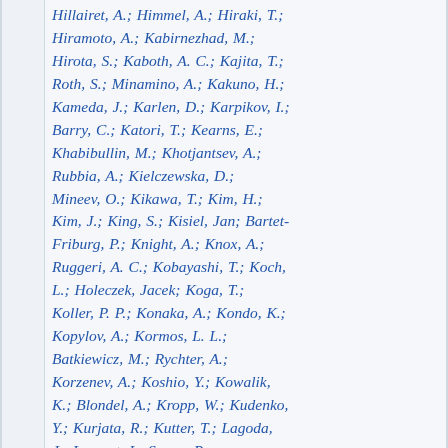Hillairet, A.; Himmel, A.; Hiraki, T.; Hiramoto, A.; Kabirnezhad, M.; Hirota, S.; Kaboth, A. C.; Kajita, T.; Roth, S.; Minamino, A.; Kakuno, H.; Kameda, J.; Karlen, D.; Karpikov, I.; Barry, C.; Katori, T.; Kearns, E.; Khabibullin, M.; Khotjantsev, A.; Rubbia, A.; Kielczewska, D.; Mineev, O.; Kikawa, T.; Kim, H.; Kim, J.; King, S.; Kisiel, Jan; Bartet-Friburg, P.; Knight, A.; Knox, A.; Ruggeri, A. C.; Kobayashi, T.; Koch, L.; Holeczek, Jacek; Koga, T.; Koller, P. P.; Konaka, A.; Kondo, K.; Kopylov, A.; Kormos, L. L.; Batkiewicz, M.; Rychter, A.; Korzenev, A.; Koshio, Y.; Kowalik, K.; Blondel, A.; Kropp, W.; Kudenko, Y.; Kurjata, R.; Kutter, T.; Lagoda, J.; Lamont, I.; Sacco, R.; Lamoureux, M.; Berardi, V.; Larkin, E.; Lasorak, P.; Mine, S.; Laveder,